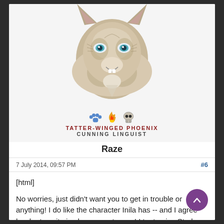[Figure (illustration): Cartoon/anime-style illustration of a wolf's head with blue eyes, open mouth showing teeth, fluffy gray-brown fur, pointed ears, looking forward.]
🐾 🔥 🐺
TATTER-WINGED PHOENIX
CUNNING LINGUIST
Raze
7 July 2014, 09:57 PM
#6
[html]
No worries, just didn't want you to get in trouble or anything! I do like the character Inila has -- and I agree harder to write in choppy sentences! I try to give Stark a personality like that but am not sure how much gets